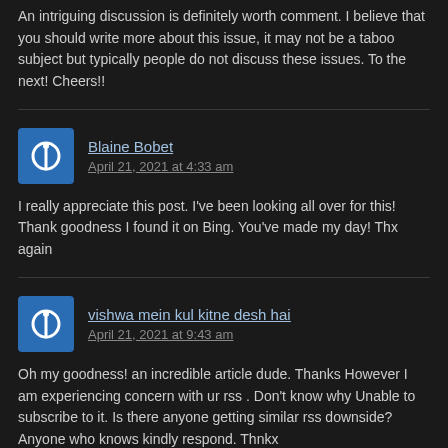An intriguing discussion is definitely worth comment. I believe that you should write more about this issue, it may not be a taboo subject but typically people do not discuss these issues. To the next! Cheers!!
Blaine Bobet
April 21, 2021 at 4:33 am
I really appreciate this post. I've been looking all over for this! Thank goodness I found it on Bing. You've made my day! Thx again
vishwa mein kul kitne desh hai
April 21, 2021 at 9:43 am
Oh my goodness! an incredible article dude. Thanks However I am experiencing concern with ur rss . Don't know why Unable to subscribe to it. Is there anyone getting similar rss downside? Anyone who knows kindly respond. Thnkx
ہمارے
April 21, 2021 at 5:36 pm